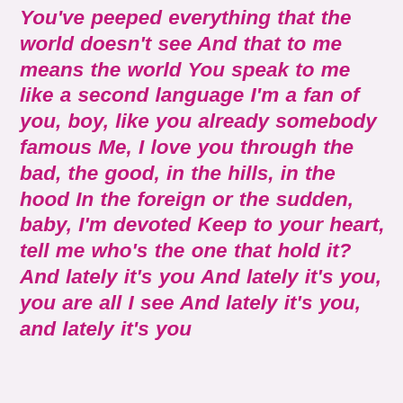You've peeped everything that the world doesn't see And that to me means the world You speak to me like a second language I'm a fan of you, boy, like you already somebody famous Me, I love you through the bad, the good, in the hills, in the hood In the foreign or the sudden, baby, I'm devoted Keep to your heart, tell me who's the one that hold it? And lately it's you And lately it's you, you are all I see And lately it's you, and lately it's you